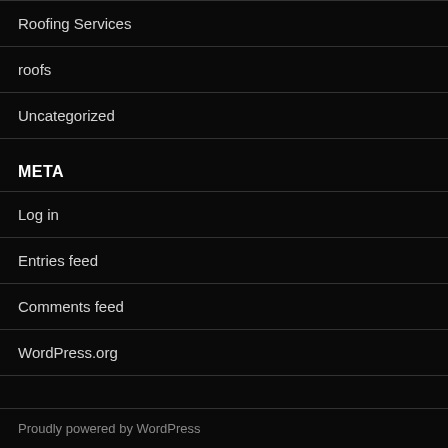Roofing Services
roofs
Uncategorized
META
Log in
Entries feed
Comments feed
WordPress.org
Proudly powered by WordPress